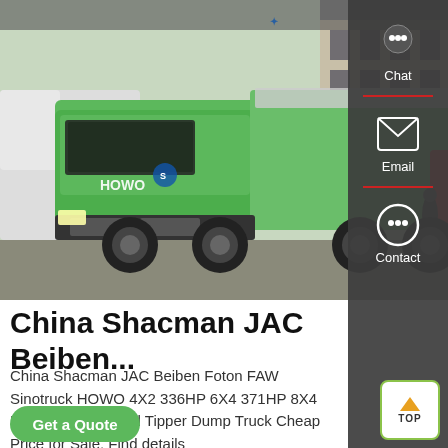[Figure (photo): Green HOWO dump truck (tipper) parked in front of a building, with white truck and red truck visible in the background and a person standing nearby.]
China Shacman JAC Beiben...
China Shacman JAC Beiben Foton FAW Sinotruck HOWO 4X2 336HP 6X4 371HP 8X4 Brand New or Used Tipper Dump Truck Cheap Price for Sale, Find details
Get a Quote